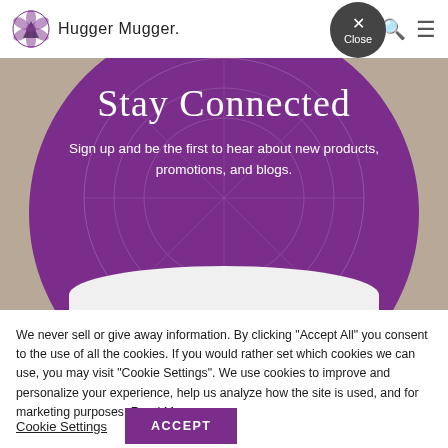Hugger Mugger.
[Figure (illustration): Purple semicircle with 'Stay Connected' title and signup text overlay on a beige/tan background photo]
Stay Connected
Sign up and be the first to hear about new products, promotions, and blogs.
We never sell or give away information. By clicking "Accept All" you consent to the use of all the cookies. If you would rather set which cookies we can use, you may visit "Cookie Settings". We use cookies to improve and personalize your experience, help us analyze how the site is used, and for marketing purposes. Read More
Cookie Settings
ACCEPT